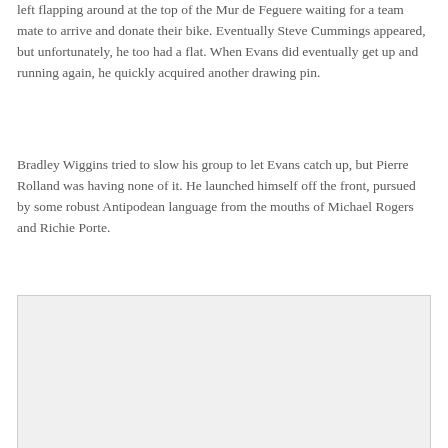left flapping around at the top of the Mur de Feguere waiting for a team mate to arrive and donate their bike. Eventually Steve Cummings appeared, but unfortunately, he too had a flat. When Evans did eventually get up and running again, he quickly acquired another drawing pin.
Bradley Wiggins tried to slow his group to let Evans catch up, but Pierre Rolland was having none of it. He launched himself off the front, pursued by some robust Antipodean language from the mouths of Michael Rogers and Richie Porte.
[Figure (photo): A light gray rectangular placeholder image area with a border.]